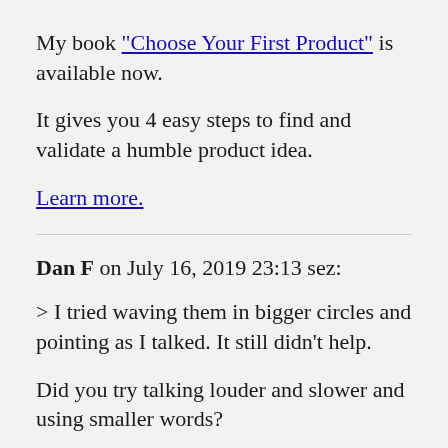My book "Choose Your First Product" is available now.
It gives you 4 easy steps to find and validate a humble product idea.
Learn more.
Dan F on July 16, 2019 23:13 sez:
> I tried waving them in bigger circles and pointing as I talked. It still didn't help.
Did you try talking louder and slower and using smaller words?